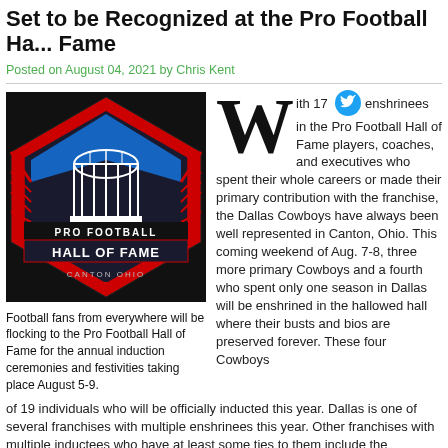Set to be Recognized at the Pro Football Hall of Fame
Posted on August 04, 2021 by Chris Kent
[Figure (photo): Pro Football Hall of Fame logo/shield on dark background with Canton Ohio text]
Football fans from everywhere will be flocking to the Pro Football Hall of Fame for the annual induction ceremonies and festivities taking place August 5-9.
With 17 enshrinees in the Pro Football Hall of Fame players, coaches, and executives who spent their whole careers or made their primary contribution with the franchise, the Dallas Cowboys have always been well represented in Canton, Ohio. This coming weekend of Aug. 7-8, three more primary Cowboys and a fourth who spent only one season in Dallas will be enshrined in the hallowed hall where their busts and bios are preserved forever. These four Cowboys are part of 19 individuals who will be officially inducted this year. Dallas is one of several franchises with multiple enshrinees this year. Other franchises with multiple inductees who have at least some ties to them include the Pittsburgh Steelers, Indianapolis Colts, Oakland/Los Angeles Raiders, Chicago Bears, Detroit Lions, and Green...